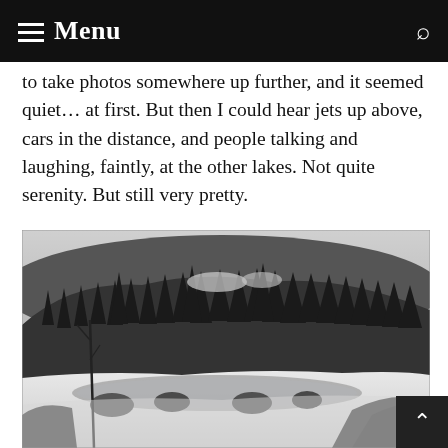Menu
to take photos somewhere up further, and it seemed quiet… at first. But then I could hear jets up above, cars in the distance, and people talking and laughing, faintly, at the other lakes. Not quite serenity. But still very pretty.
[Figure (photo): Black and white photograph of a snow-covered frozen lake surrounded by dense evergreen forest on a hillside, with large rocks in the foreground and bare/dead trees visible on the left side.]